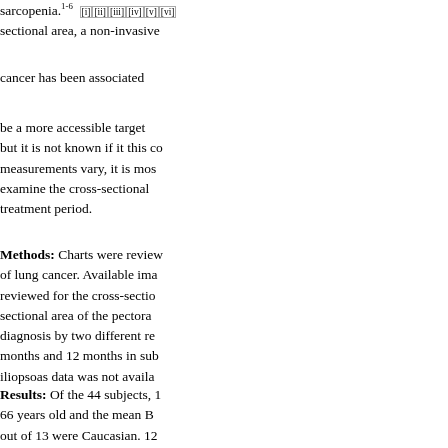sarcopenia.1-6 sectional area, a non-invasive
cancer has been associated
be a more accessible target but it is not known if it this co measurements vary, it is mos examine the cross-sectional treatment period.
Methods: Charts were review of lung cancer. Available ima reviewed for the cross-sectio sectional area of the pectora diagnosis by two different re months and 12 months in sub iliopsoas data was not availa
Results: Of the 44 subjects, 1 66 years old and the mean B out of 13 were Caucasian. 12 undergone lobectomy. 10 ou at diagnosis. 4 out of 13 had diagnosis was 8.17cm2. The m mean pectoralis area at 6 mo